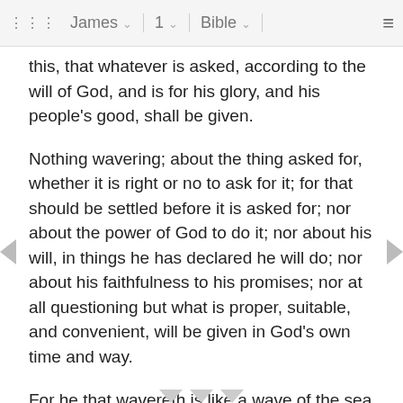James  1  Bible
this, that whatever is asked, according to the will of God, and is for his glory, and his people's good, shall be given.
Nothing wavering; about the thing asked for, whether it is right or no to ask for it; for that should be settled before it is asked for; nor about the power of God to do it; nor about his will, in things he has declared he will do; nor about his faithfulness to his promises; nor at all questioning but what is proper, suitable, and convenient, will be given in God's own time and way.
For he that wavereth is like a wave of the sea driven with the wind and tossed; he is troubled, restless, unquiet, and impatient; and he is fickle, inconstant, unstable, and unsettled; and is easily carried away with every wind of doctrine, or motion that comes to